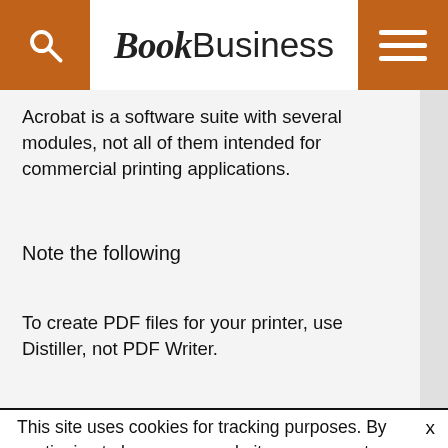BookBusiness
Acrobat is a software suite with several modules, not all of them intended for commercial printing applications.
Note the following
To create PDF files for your printer, use Distiller, not PDF Writer.
This site uses cookies for tracking purposes. By continuing to browse our website, you agree to the storing of first- and third-party cookies on your device to enhance site navigation, analyze site usage, and assist in our marketing and communication efforts. Privacy Policy | Terms of Use | Close